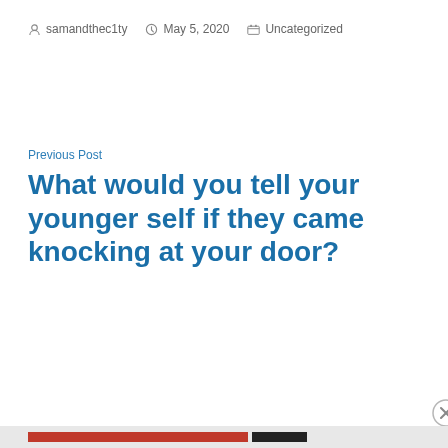samandthec1ty  May 5, 2020  Uncategorized
Previous Post
What would you tell your younger self if they came knocking at your door?
Privacy & Cookies: This site uses cookies. By continuing to use this website, you agree to their use.
To find out more, including how to control cookies, see here: Cookie Policy
Close and accept